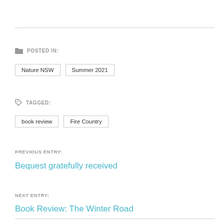POSTED IN:
Nature NSW
Summer 2021
TAGGED:
book review
Fire Country
PREVIOUS ENTRY:
Bequest gratefully received
NEXT ENTRY:
Book Review: The Winter Road